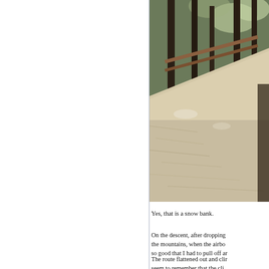[Figure (photo): An outdoor trail photo showing a snowy or frosty mountain path with pine trees and a wooden fence/railing on the left side of the trail. The ground is covered with light-colored frosty needles or snow, and the trees are dark conifer pines.]
Yes, that is a snow bank.
On the descent, after dropping the mountains, when the airbo so good that I had to pull off ar
The route flattened out and clir seem to remember that the cli